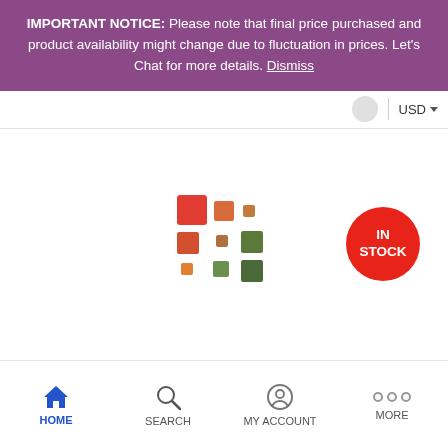IMPORTANT NOTICE: Please note that final price purchased and product availability might change due to fluctuation in prices. Let's Chat for more details. Dismiss
[Figure (logo): Loading spinner or brand logo made of colored squares in a 3x3 grid pattern with red, orange, and green squares of varying sizes]
[Figure (other): Red circular IN STOCK badge]
HOME  SEARCH  MY ACCOUNT  MORE